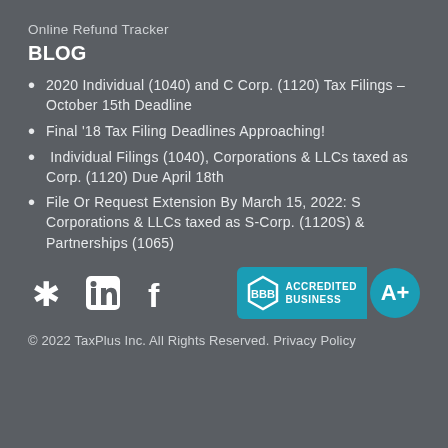Online Refund Tracker
BLOG
2020 Individual (1040) and C Corp. (1120) Tax Filings – October 15th Deadline
Final '18 Tax Filing Deadlines Approaching!
Individual Filings (1040), Corporations & LLCs taxed as Corp. (1120) Due April 18th
File Or Request Extension By March 15, 2022: S Corporations & LLCs taxed as S-Corp. (1120S) & Partnerships (1065)
[Figure (logo): Social media icons (Yelp, LinkedIn, Facebook) and BBB Accredited Business A+ badge]
© 2022 TaxPlus Inc. All Rights Reserved. Privacy Policy